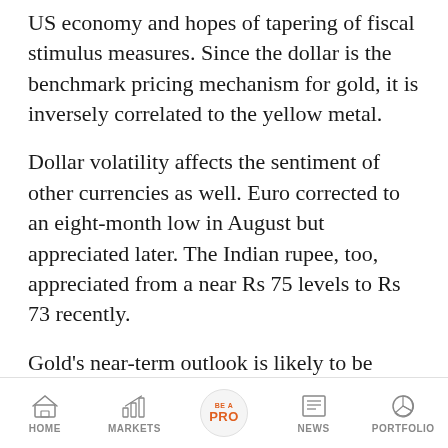US economy and hopes of tapering of fiscal stimulus measures. Since the dollar is the benchmark pricing mechanism for gold, it is inversely correlated to the yellow metal.
Dollar volatility affects the sentiment of other currencies as well. Euro corrected to an eight-month low in August but appreciated later. The Indian rupee, too, appreciated from a near Rs 75 levels to Rs 73 recently.
Gold's near-term outlook is likely to be choppy with mildly positive. Fundamentals are not strong enough to break its recent high. Investment demand is likely to be steady due to a rally in equity and a firm dollar.
HOME   MARKETS   BE A PRO   NEWS   PORTFOLIO